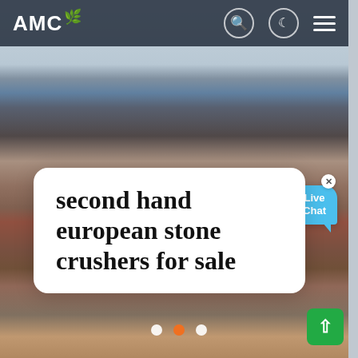[Figure (photo): Website screenshot showing AMC logo header with search, dark mode, and menu icons on dark background, over a photo of workers standing around a stone crushing machine on a construction site. Slider dots and a live chat bubble are visible.]
AMC
second hand european stone crushers for sale